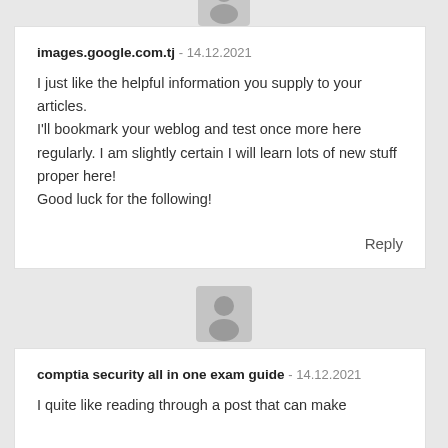images.google.com.tj - 14.12.2021

I just like the helpful information you supply to your articles.
I'll bookmark your weblog and test once more here regularly. I am slightly certain I will learn lots of new stuff proper here!
Good luck for the following!

Reply
comptia security all in one exam guide - 14.12.2021

I quite like reading through a post that can make